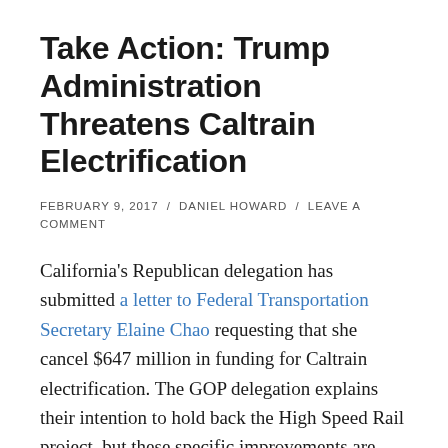Take Action: Trump Administration Threatens Caltrain Electrification
FEBRUARY 9, 2017 / DANIEL HOWARD / LEAVE A COMMENT
California's Republican delegation has submitted a letter to Federal Transportation Secretary Elaine Chao requesting that she cancel $647 million in funding for Caltrain electrification. The GOP delegation explains their intention to hold back the High Speed Rail project, but these specific improvements are badly needed by Caltrain to improve service for local riders. Bay Area representatives have followed up with their own letter to Secretary